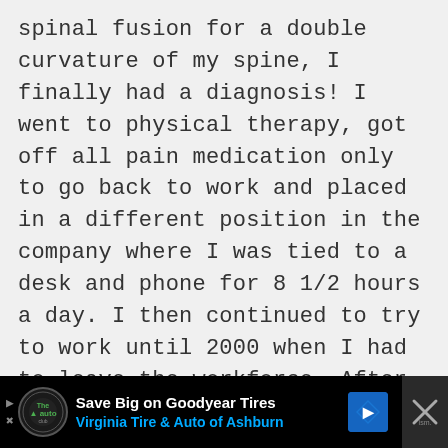spinal fusion for a double curvature of my spine, I finally had a diagnosis! I went to physical therapy, got off all pain medication only to go back to work and placed in a different position in the company where I was tied to a desk and phone for 8 1/2 hours a day. I then continued to try to work until 2000 when I had to leave the workforce. After almost 33 years of suffering, I have no social life, I go out only to go to doctors appointments or grocery
[Figure (other): Advertisement banner for Virginia Tire & Auto of Ashburn featuring Goodyear Tires offer, with logo, navigation arrows, and close button.]